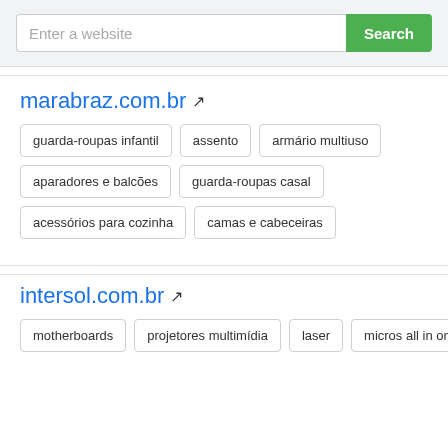Enter a website
Search
marabraz.com.br
guarda-roupas infantil
assento
armário multiuso
aparadores e balcões
guarda-roupas casal
acessórios para cozinha
camas e cabeceiras
intersol.com.br
motherboards
projetores multimídia
laser
micros all in one